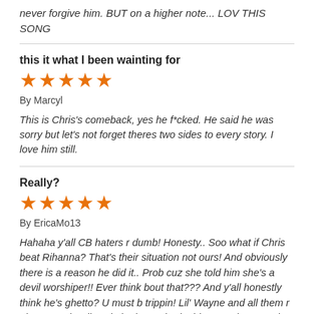never forgive him. BUT on a higher note... LOV THIS SONG
this it what I been wainting for
[Figure (other): 5 orange stars rating]
By Marcyl
This is Chris's comeback, yes he f*cked. He said he was sorry but let's not forget theres two sides to every story. I love him still.
Really?
[Figure (other): 5 orange stars rating]
By EricaMo13
Hahaha y'all CB haters r dumb! Honesty.. Soo what if Chris beat Rihanna? That's their situation not ours! And obviously there is a reason he did it.. Prob cuz she told him she's a devil worshiper!! Ever think bout that??? And y'all honestly think he's ghetto? U must b trippin! Lil' Wayne and all them r ghetto! And y'all sayin he hasn't had a hit song since no air with Jordan, u obviously forgot bout his song Crawl!!!! U guys r dumb for judging his music based on his personal life.. What a shame... U guys rather listen to devil worshipers who dnt even have good songs than listen to